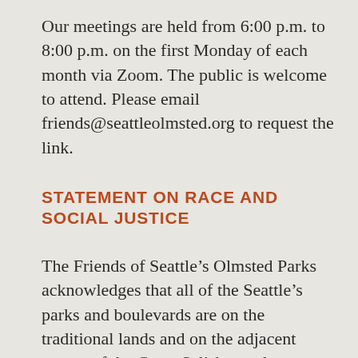Our meetings are held from 6:00 p.m. to 8:00 p.m. on the first Monday of each month via Zoom. The public is welcome to attend. Please email friends@seattleolmsted.org to request the link.
STATEMENT ON RACE AND SOCIAL JUSTICE
The Friends of Seattle’s Olmsted Parks acknowledges that all of the Seattle’s parks and boulevards are on the traditional lands and on the adjacent waters of the Coast Salish peoples,